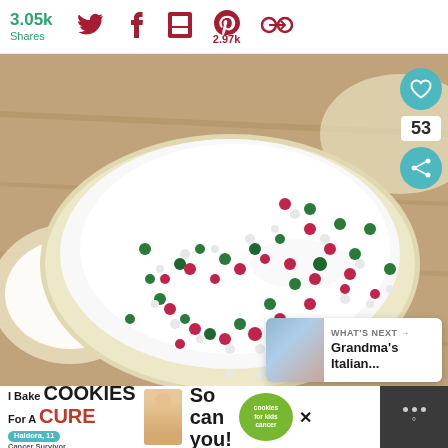3.05k Shares  [Twitter] [Facebook] [Flipboard] [Pinterest 2.97k] [Save]
[Figure (photo): Close-up photo of a frosted sugar cookie with white icing and red, green, and white sprinkle pearls on top, placed on a wooden surface with other cookies in background]
[Figure (infographic): WHAT'S NEXT arrow Grandma's Italian...  with thumbnail image]
[Figure (screenshot): Advertisement banner: I Bake COOKIES For A CURE - Haldora, 11 Cancer Survivor - So can you! - cookies for kids cancer badge - close button X - menu icon with dots and degree symbol]